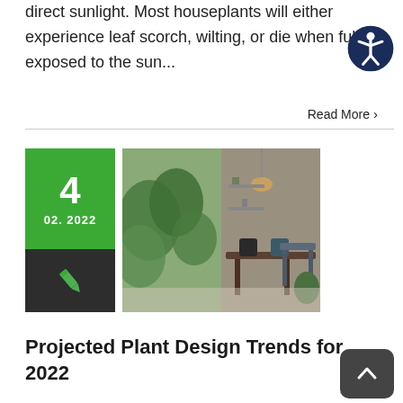direct sunlight. Most houseplants will either experience leaf scorch, wilting, or die when fully exposed to the sun...
[Figure (other): Accessibility icon — person with arms and legs spread inside a circle, dark navy background]
Read More >
[Figure (photo): Interior room with plants, industrial-style furniture, pendant lights, and monstera leaves in foreground. Date card showing 4, 02. 2022 with green top and dark bottom with pen icon.]
Projected Plant Design Trends for 2022